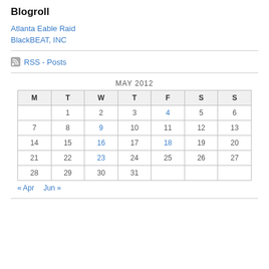Blogroll
Atlanta Eable Raid
BlackBEAT, INC
RSS - Posts
| M | T | W | T | F | S | S |
| --- | --- | --- | --- | --- | --- | --- |
|  | 1 | 2 | 3 | 4 | 5 | 6 |
| 7 | 8 | 9 | 10 | 11 | 12 | 13 |
| 14 | 15 | 16 | 17 | 18 | 19 | 20 |
| 21 | 22 | 23 | 24 | 25 | 26 | 27 |
| 28 | 29 | 30 | 31 |  |  |  |